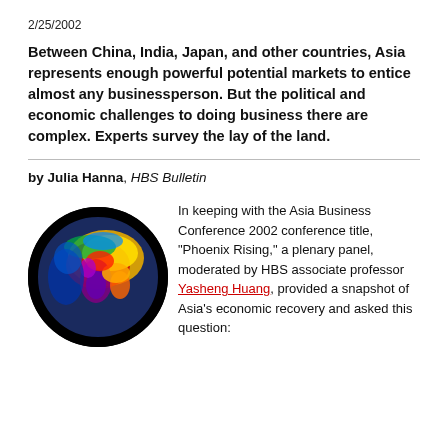2/25/2002
Between China, India, Japan, and other countries, Asia represents enough powerful potential markets to entice almost any businessperson. But the political and economic challenges to doing business there are complex. Experts survey the lay of the land.
by Julia Hanna, HBS Bulletin
[Figure (photo): A colorful infrared globe image showing Asia, centered on the Indian subcontinent, with black background and thermographic color mapping in yellows, reds, greens, and purples.]
In keeping with the Asia Business Conference 2002 conference title, "Phoenix Rising," a plenary panel, moderated by HBS associate professor Yasheng Huang, provided a snapshot of Asia's economic recovery and asked this question: